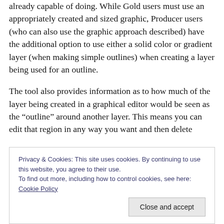already capable of doing. While Gold users must use an appropriately created and sized graphic, Producer users (who can also use the graphic approach described) have the additional option to use either a solid color or gradient layer (when making simple outlines) when creating a layer being used for an outline.
The tool also provides information as to how much of the layer being created in a graphical editor would be seen as the “outline” around another layer. This means you can edit that region in any way you want and then delete something else automatically creating a frame/something with...
Privacy & Cookies: This site uses cookies. By continuing to use this website, you agree to their use.
To find out more, including how to control cookies, see here: Cookie Policy